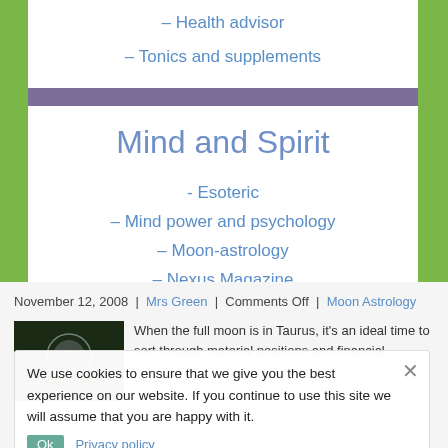– Health advisor
– Tonics and supplements
Mind and Spirit
- Esoteric
– Mind power and psychology
– Moon-astrology
– Nexus Magazine
– Ritual and celebrations
November 12, 2008 | Mrs Green | Comments Off | Moon Astrology
We use cookies to ensure that we give you the best experience on our website. If you continue to use this site we will assume that you are happy with it.
Ok   Privacy policy
When the full moon is in Taurus, it's an ideal time to sort through material positions and financial